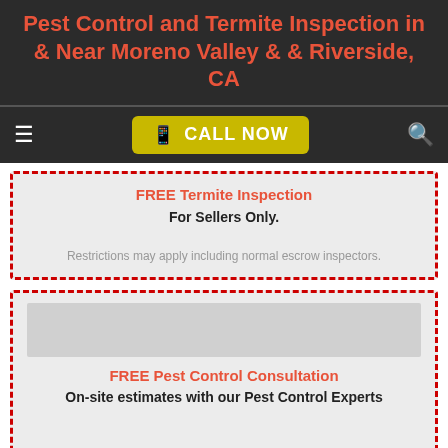Pest Control and Termite Inspection in & Near Moreno Valley & & Riverside, CA
CALL NOW
FREE Termite Inspection
For Sellers Only.
Restrictions may apply including normal escrow inspectors.
FREE Pest Control Consultation
On-site estimates with our Pest Control Experts